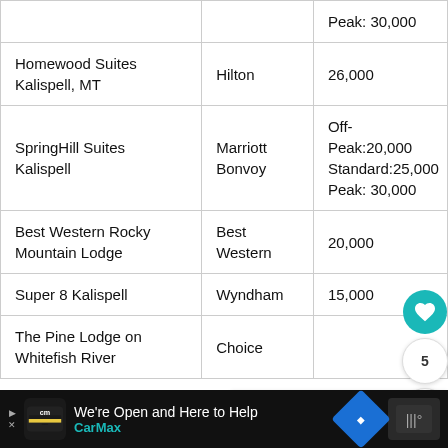| Hotel | Program | Points |
| --- | --- | --- |
|  |  | Peak: 30,000 |
| Homewood Suites Kalispell, MT | Hilton | 26,000 |
| SpringHill Suites Kalispell | Marriott Bonvoy | Off-Peak:20,000
Standard:25,000
Peak: 30,000 |
| Best Western Rocky Mountain Lodge | Best Western | 20,000 |
| Super 8 Kalispell | Wyndham | 15,000 |
| The Pine Lodge on Whitefish River | Choice |  |